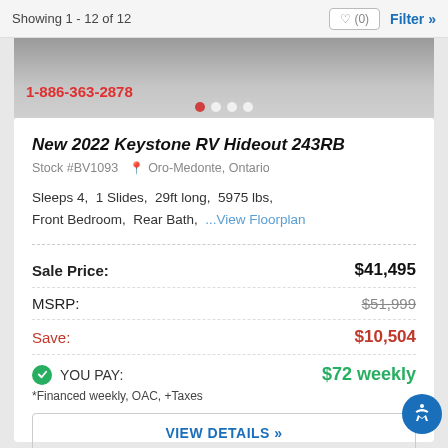Showing 1 - 12 of 12
[Figure (photo): RV interior photo with phone number 1-886-363-2878 and carousel dots]
New 2022 Keystone RV Hideout 243RB
Stock #BV1093 📍 Oro-Medonte, Ontario
Sleeps 4, 1 Slides, 29ft long, 5975 lbs, Front Bedroom, Rear Bath, ...View Floorplan
| Label | Value |
| --- | --- |
| Sale Price: | $41,495 |
| MSRP: | $51,999 |
| Save: | $10,504 |
YOU PAY: $72 weekly
*Financed weekly, OAC, +Taxes
VIEW DETAILS »